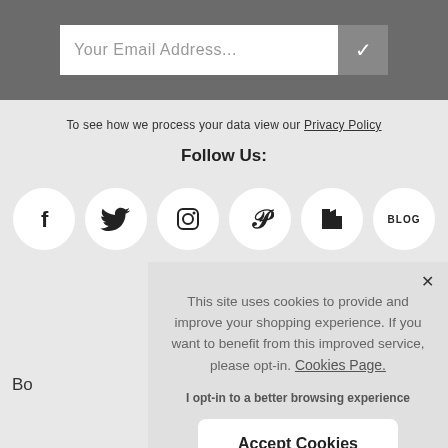Your Email Address...
To see how we process your data view our Privacy Policy
Follow Us:
[Figure (infographic): Row of six circular social media icons: Facebook (f), Twitter (bird), Instagram (camera), Pinterest (P), Houzz (H logo), and BLOG]
This site uses cookies to provide and improve your shopping experience. If you want to benefit from this improved service, please opt-in. Cookies Page.
I opt-in to a better browsing experience
Accept Cookies
Bo
Inspiration